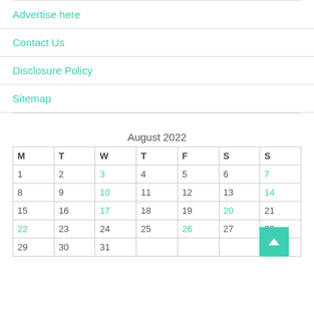Advertise here
Contact Us
Disclosure Policy
Sitemap
August 2022
| M | T | W | T | F | S | S |
| --- | --- | --- | --- | --- | --- | --- |
| 1 | 2 | 3 | 4 | 5 | 6 | 7 |
| 8 | 9 | 10 | 11 | 12 | 13 | 14 |
| 15 | 16 | 17 | 18 | 19 | 20 | 21 |
| 22 | 23 | 24 | 25 | 26 | 27 | 28 |
| 29 | 30 | 31 |  |  |  |  |